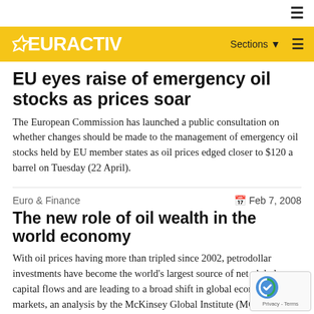EURACTIV
EU eyes raise of emergency oil stocks as prices soar
The European Commission has launched a public consultation on whether changes should be made to the management of emergency oil stocks held by EU member states as oil prices edged closer to $120 a barrel on Tuesday (22 April).
Euro & Finance
Feb 7, 2008
The new role of oil wealth in the world economy
With oil prices having more than tripled since 2002, petrodollar investments have become the world's largest source of net global capital flows and are leading to a broad shift in global economic markets, an analysis by the McKinsey Global Institute (MGI) says.